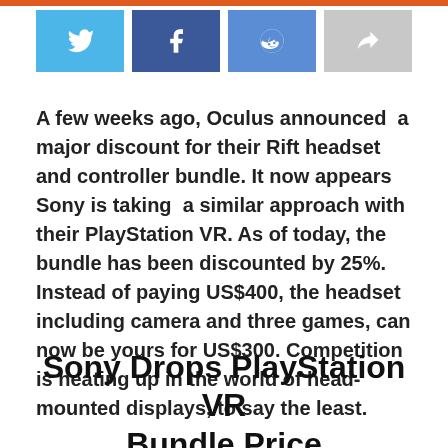[Figure (other): Social share buttons: Twitter (blue), Facebook (dark blue), Reddit (medium blue), Share (gray)]
A few weeks ago, Oculus announced  a major discount for their Rift headset and controller bundle. It now appears Sony is taking  a similar approach with their PlayStation VR. As of today, the bundle has been discounted by 25%. Instead of paying US$400, the headset including camera and three games, can now be yours for US$300. Competition is heating up in the world of head-mounted displays, to say the least.
Sony Drops PlayStation VR Bundle Price